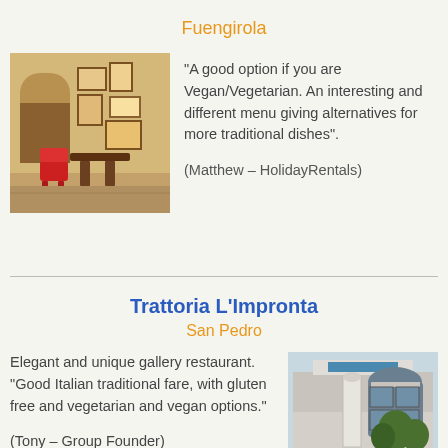Fuengirola
[Figure (photo): Interior of a restaurant with dining chairs, tables, and wall decorations]
“A good option if you are Vegan/Vegetarian. An interesting and different menu giving alternatives for more traditional dishes”.

(Matthew – HolidayRentals)
Trattoria L’Impronta
San Pedro
Elegant and unique gallery restaurant. “Good Italian traditional fare, with gluten free and vegetarian and vegan options.”

(Tony – Group Founder)
[Figure (photo): Exterior of Trattoria L'Impronta building with modern architecture and trees]